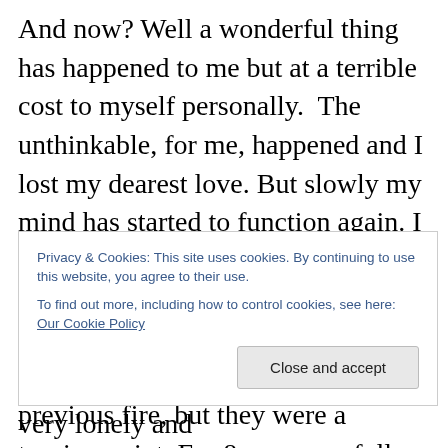And now? Well a wonderful thing has happened to me but at a terrible cost to myself personally.  The unthinkable, for me, happened and I lost my dearest love. But slowly my mind has started to function again. I wrote Three Castles, I rewrote Until the End of Time, I rewrote Beautiful Brown Eyes. Not by far my greatest work, they still lacked some of my previous fire, but they were a turning point. For 8 years my follow up to Love Sex and Time Travel has lacked direction. I could not see where it was going, I could not imagine the ending, until a couple of days ago. The ending had been there all the time. I had written it
Privacy & Cookies: This site uses cookies. By continuing to use this website, you agree to their use.
To find out more, including how to control cookies, see here: Our Cookie Policy
writer and a poet once more, if a very lonely and